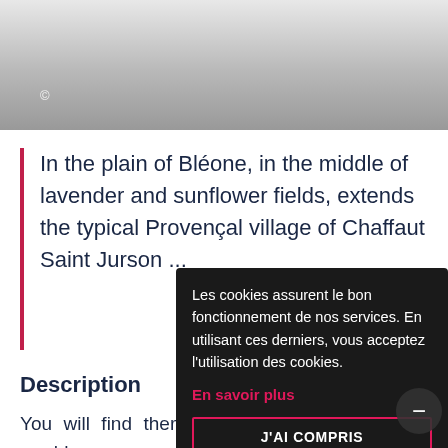[Figure (photo): Gray gradient photo area with copyright symbol]
In the plain of Bléone, in the middle of lavender and sunflower fields, extends the typical Provençal village of Chaffaut Saint Jurson ...
Description
You will find there alleyways, cypress and a washhouse covered with Roman tiles, a XNUMXth century church and a wonderful ...
Les cookies assurent le bon fonctionnement de nos services. En utilisant ces derniers, vous acceptez l'utilisation des cookies.
En savoir plus
J'AI COMPRIS